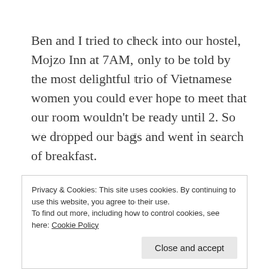Ben and I tried to check into our hostel, Mojzo Inn at 7AM, only to be told by the most delightful trio of Vietnamese women you could ever hope to meet that our room wouldn't be ready until 2. So we dropped our bags and went in search of breakfast.
Just around the corner from Mojzo Inn we found a large bar which was playing the NBA playoffs and the Bruins-Canadiens game. They had large English breakfasts on the menu so we decided to go grab a seat. We were basically the only fools around, other than an older
Privacy & Cookies: This site uses cookies. By continuing to use this website, you agree to their use.
To find out more, including how to control cookies, see here: Cookie Policy
Close and accept